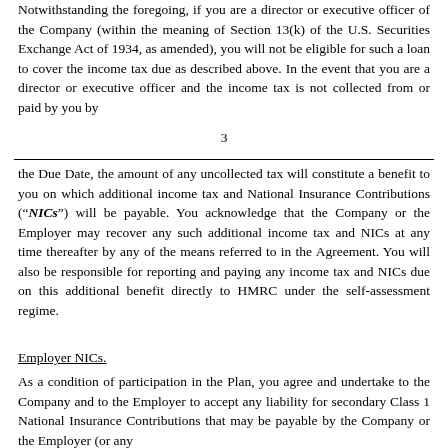Notwithstanding the foregoing, if you are a director or executive officer of the Company (within the meaning of Section 13(k) of the U.S. Securities Exchange Act of 1934, as amended), you will not be eligible for such a loan to cover the income tax due as described above. In the event that you are a director or executive officer and the income tax is not collected from or paid by you by
3
the Due Date, the amount of any uncollected tax will constitute a benefit to you on which additional income tax and National Insurance Contributions (“NICs”) will be payable. You acknowledge that the Company or the Employer may recover any such additional income tax and NICs at any time thereafter by any of the means referred to in the Agreement. You will also be responsible for reporting and paying any income tax and NICs due on this additional benefit directly to HMRC under the self-assessment regime.
Employer NICs.
As a condition of participation in the Plan, you agree and undertake to the Company and to the Employer to accept any liability for secondary Class 1 National Insurance Contributions that may be payable by the Company or the Employer (or any